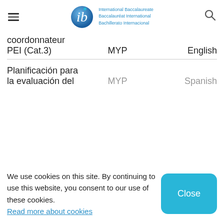International Baccalaureate Baccalauréat International Bachillerato Internacional
|  |  |  |
| --- | --- | --- |
| coordonnateur PEI (Cat.3) | MYP | English |
| Planificación para la evaluación del | MYP | Spanish |
We use cookies on this site. By continuing to use this website, you consent to our use of these cookies. Read more about cookies